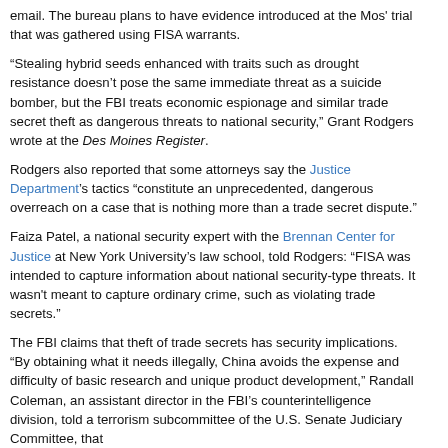email. The bureau plans to have evidence introduced at the Mos' trial that was gathered using FISA warrants.
“Stealing hybrid seeds enhanced with traits such as drought resistance doesn’t pose the same immediate threat as a suicide bomber, but the FBI treats economic espionage and similar trade secret theft as dangerous threats to national security,” Grant Rodgers wrote at the Des Moines Register.
Rodgers also reported that some attorneys say the Justice Department’s tactics “constitute an unprecedented, dangerous overreach on a case that is nothing more than a trade secret dispute.”
Faiza Patel, a national security expert with the Brennan Center for Justice at New York University’s law school, told Rodgers: “FISA was intended to capture information about national security-type threats. It wasn't meant to capture ordinary crime, such as violating trade secrets.”
The FBI claims that theft of trade secrets has security implications. “By obtaining what it needs illegally, China avoids the expense and difficulty of basic research and unique product development,” Randall Coleman, an assistant director in the FBI’s counterintelligence division, told a terrorism subcommittee of the U.S. Senate Judiciary Committee, that